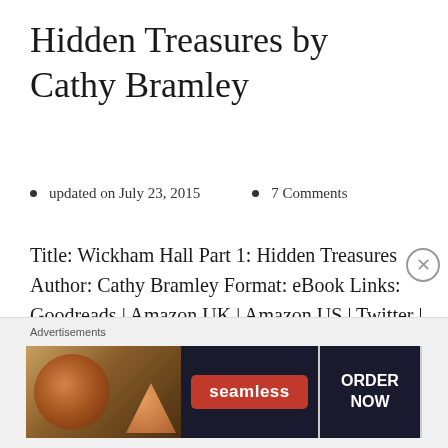Hidden Treasures by Cathy Bramley
updated on July 23, 2015  •  7 Comments
Title: Wickham Hall Part 1: Hidden Treasures Author: Cathy Bramley Format: eBook Links: Goodreads | Amazon UK | Amazon US | Twitter | Facebook Blurb: Holly Swift has just landed the job of her dreams: ...
[Figure (screenshot): Advertisement banner showing Seamless food delivery service with pizza image and 'ORDER NOW' call to action button]
Advertisements